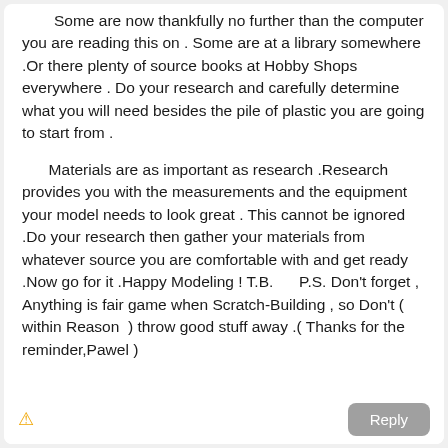Some are now thankfully no further than the computer you are reading this on . Some are at a library somewhere .Or there plenty of source books at Hobby Shops everywhere . Do your research and carefully determine what you will need besides the pile of plastic you are going to start from .
Materials are as important as research .Research provides you with the measurements and the equipment your model needs to look great . This cannot be ignored .Do your research then gather your materials from whatever source you are comfortable with and get ready .Now go for it .Happy Modeling ! T.B.      P.S. Don't forget , Anything is fair game when Scratch-Building , so Don't ( within Reason  ) throw good stuff away .( Thanks for the reminder,Pawel )